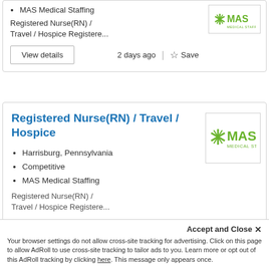MAS Medical Staffing
Registered Nurse(RN) / Travel / Hospice Registere...
2 days ago
Save
Registered Nurse(RN) / Travel / Hospice
Harrisburg, Pennsylvania
Competitive
MAS Medical Staffing
Registered Nurse(RN) / Travel / Hospice Registere...
[Figure (logo): MAS Medical Staffing logo with green asterisk and green text]
Accept and Close ✕
Your browser settings do not allow cross-site tracking for advertising. Click on this page to allow AdRoll to use cross-site tracking to tailor ads to you. Learn more or opt out of this AdRoll tracking by clicking here. This message only appears once.